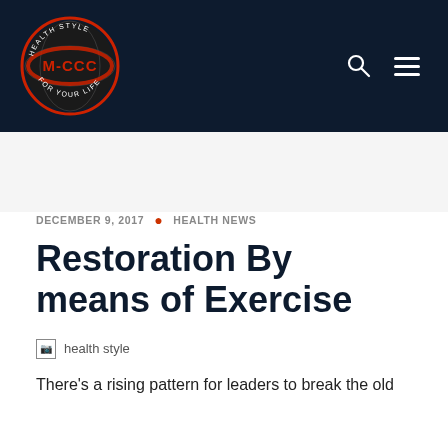[Figure (logo): M-CCC Health Style For Your Life circular logo in red and white on dark navy background, with search icon and hamburger menu]
DECEMBER 9, 2017 · HEALTH NEWS
Restoration By means of Exercise
[Figure (photo): Broken image placeholder labeled 'health style']
There's a rising pattern for leaders to break the old